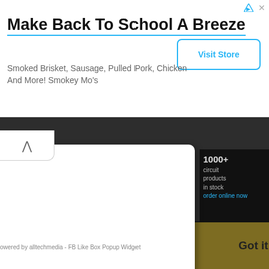[Figure (screenshot): Advertisement banner for Back To School promotion by Smokey Mo's with Visit Store button]
Make Back To School A Breeze
Smoked Brisket, Sausage, Pulled Pork, Chicken And More! Smokey Mo's
[Figure (screenshot): FB Like Box Popup Widget panel showing white overlay with chevron toggle tab, powered by alltechmedia]
owered by alltechmedia - FB Like Box Popup Widget
dget
Learn more
[Figure (screenshot): Kyocera advertisement bar with Got it! button at bottom of page]
Got it!